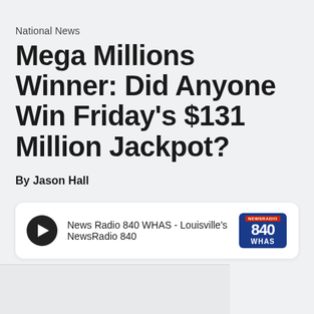National News
Mega Millions Winner: Did Anyone Win Friday's $131 Million Jackpot?
By Jason Hall
[Figure (other): Audio player widget for News Radio 840 WHAS - Louisville's NewsRadio 840 with play button and station logo]
[Figure (photo): Partially visible image placeholder below the audio player, light gray background]